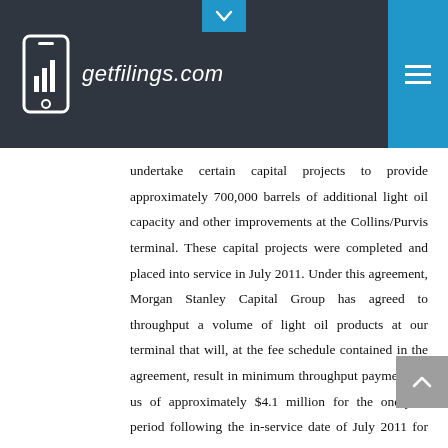getfilings.com
undertake certain capital projects to provide approximately 700,000 barrels of additional light oil capacity and other improvements at the Collins/Purvis terminal. These capital projects were completed and placed into service in July 2011. Under this agreement, Morgan Stanley Capital Group has agreed to throughput a volume of light oil products at our terminal that will, at the fee schedule contained in the agreement, result in minimum throughput payments to us of approximately $4.1 million for the one-year period following the in-service date of July 2011 for the aforementioned capital projects, and for each